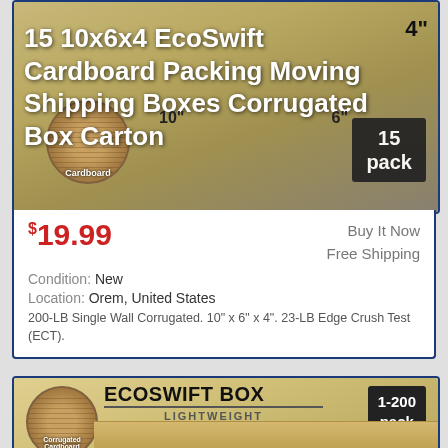[Figure (photo): Product listing image for 15 10x6x4 EcoSwift Cardboard Packing Moving Shipping Boxes Corrugated Box Carton, showing a cardboard box with dimensions labeled 10", 6", 4" and a 15 pack badge, with a corrugated cardboard circle inset.]
$19.99
Buy It Now
Free Shipping
Condition: New
Location: Orem, United States
200-LB Single Wall Corrugated. 10" x 6" x 4". 23-LB Edge Crush Test (ECT).
[Figure (photo): EcoSwift Box product branding image showing Corrugated Cardboard circle inset, ECOSWIFT BOX title with LIGHTWEIGHT subtitle, 1-200 pack badge, and partial view of a cardboard box.]